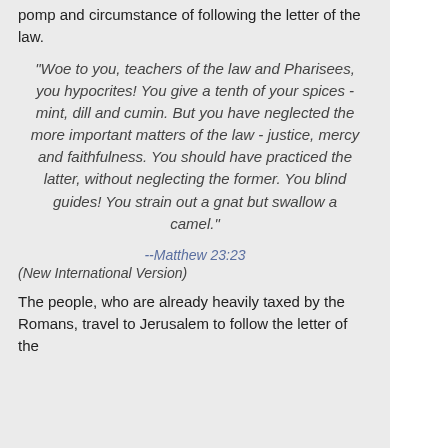pomp and circumstance of following the letter of the law.
"Woe to you, teachers of the law and Pharisees, you hypocrites! You give a tenth of your spices - mint, dill and cumin. But you have neglected the more important matters of the law - justice, mercy and faithfulness. You should have practiced the latter, without neglecting the former. You blind guides! You strain out a gnat but swallow a camel."
--Matthew 23:23
(New International Version)
The people, who are already heavily taxed by the Romans, travel to Jerusalem to follow the letter of the